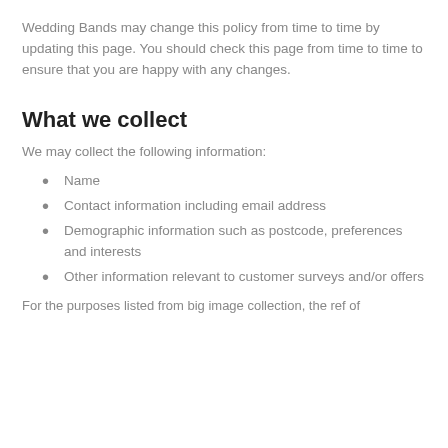Wedding Bands may change this policy from time to time by updating this page. You should check this page from time to time to ensure that you are happy with any changes.
What we collect
We may collect the following information:
Name
Contact information including email address
Demographic information such as postcode, preferences and interests
Other information relevant to customer surveys and/or offers
For the purposes listed from big image collection, the ref of